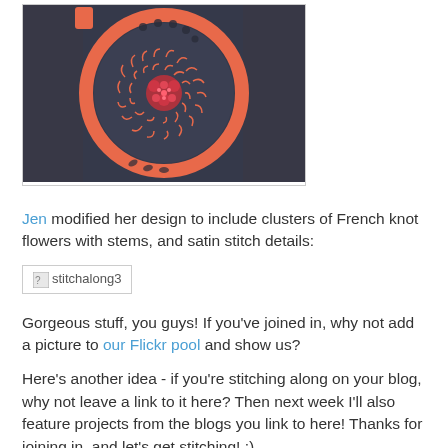[Figure (photo): Embroidery hoop with dark fabric showing circular French knot and satin stitch embroidery pattern with salmon/coral colored hoop frame]
Jen modified her design to include clusters of French knot flowers with stems, and satin stitch details:
[Figure (other): Broken image placeholder labeled 'stitchalong3']
Gorgeous stuff, you guys! If you've joined in, why not add a picture to our Flickr pool and show us?
Here's another idea - if you're stitching along on your blog, why not leave a link to it here? Then next week I'll also feature projects from the blogs you link to here! Thanks for joining in, and let's get stitching! :)